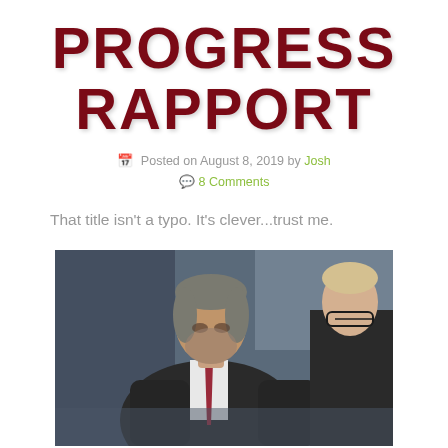PROGRESS RAPPORT
Posted on August 8, 2019 by Josh
8 Comments
That title isn't a typo. It's clever...trust me.
[Figure (photo): A middle-aged man in a dark suit and red tie leaning forward, speaking intently, with another person partially visible on the right side]